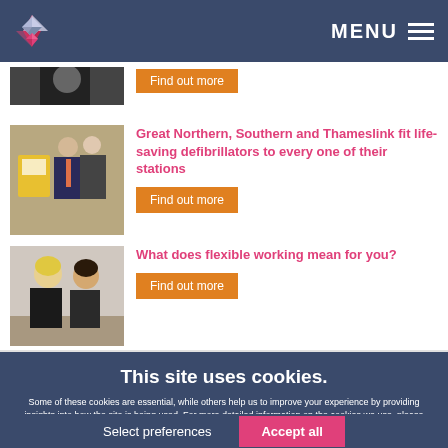MENU
[Figure (photo): Partial view of person in dark clothing at top of page]
Find out more
[Figure (photo): Two men in business suits standing next to a yellow defibrillator machine]
Great Northern, Southern and Thameslink fit life-saving defibrillators to every one of their stations
Find out more
[Figure (photo): Two women in a meeting or consultation setting]
What does flexible working mean for you?
Find out more
This site uses cookies.
Some of these cookies are essential, while others help us to improve your experience by providing insights into how the site is being used. For more detailed information on the cookies we use, please check our Privacy Policy
Select preferences
Accept all